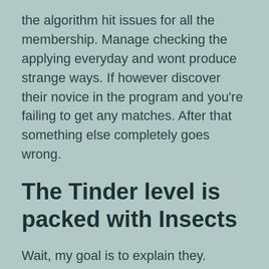the algorithm hit issues for all the membership. Manage checking the applying everyday and wont produce strange ways. If however discover their novice in the program and you're failing to get any matches. After that something else completely goes wrong.
The Tinder level is packed with Insects
Wait, my goal is to explain they. Numerous users add promoting their own content with artificial data. Hence these people encounters many problems like this bundle. You truly need